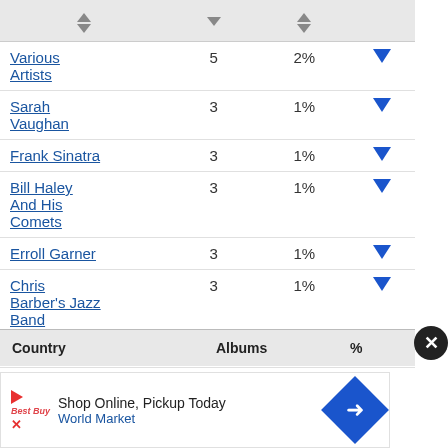|  |  |  |  |
| --- | --- | --- | --- |
| Various Artists | 5 | 2% | ▼ |
| Sarah Vaughan | 3 | 1% | ▼ |
| Frank Sinatra | 3 | 1% | ▼ |
| Bill Haley And His Comets | 3 | 1% | ▼ |
| Erroll Garner | 3 | 1% | ▼ |
| Chris Barber's Jazz Band | 3 | 1% | ▼ |
| Stan Getz | 3 | 1% | ▼ |
Show all
| Country | Albums | % |
| --- | --- | --- |
[Figure (other): Advertisement banner: Shop Online, Pickup Today - World Market with directional sign icon]